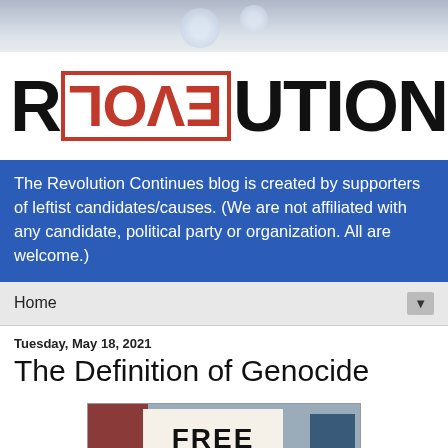[Figure (photo): Blurred bokeh header photo background with soft blue/grey tones]
REVOLUTION (logo with EVOL reversed in red stamp box)
The Revolution Continues blog is created by supporters of leftist candidates/causes. (We are not affiliated with any candidate, political party or organization. All are welcome.)
Home ▼
Tuesday, May 18, 2021
The Definition of Genocide
[Figure (photo): Protest photo showing people holding a sign reading FREE with a Palestinian flag]